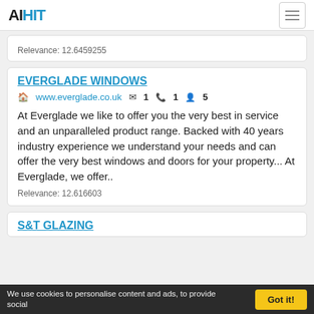AIHIT
Relevance: 12.6459255
EVERGLADE WINDOWS
www.everglade.co.uk  1  1  5
At Everglade we like to offer you the very best in service and an unparalleled product range. Backed with 40 years industry experience we understand your needs and can offer the very best windows and doors for your property... At Everglade, we offer..
Relevance: 12.616603
S&T GLAZING
We use cookies to personalise content and ads, to provide social...